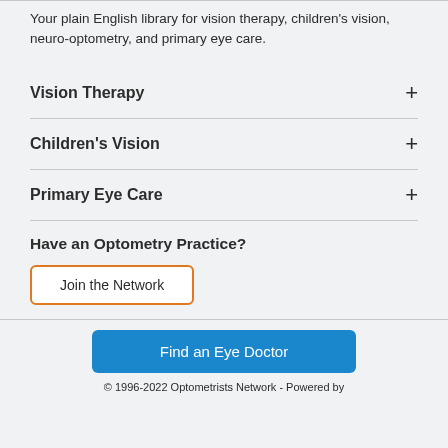Your plain English library for vision therapy, children's vision, neuro-optometry, and primary eye care.
Vision Therapy
Children's Vision
Primary Eye Care
Have an Optometry Practice?
Join the Network
Find an Eye Doctor
© 1996-2022 Optometrists Network - Powered by